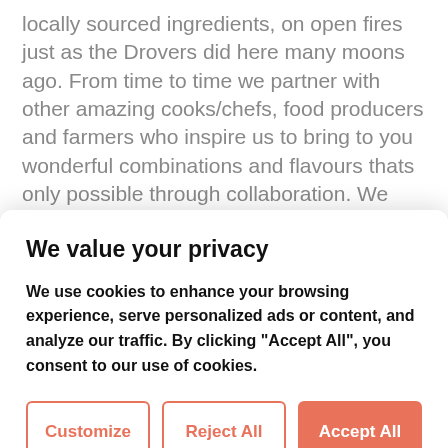locally sourced ingredients, on open fires just as the Drovers did here many moons ago. From time to time we partner with other amazing cooks/chefs, food producers and farmers who inspire us to bring to you wonderful combinations and flavours thats only possible through collaboration. We also have farm accommodation so why not combine your food experience with a stay in beautiful Herefordshire where
We value your privacy
We use cookies to enhance your browsing experience, serve personalized ads or content, and analyze our traffic. By clicking "Accept All", you consent to our use of cookies.